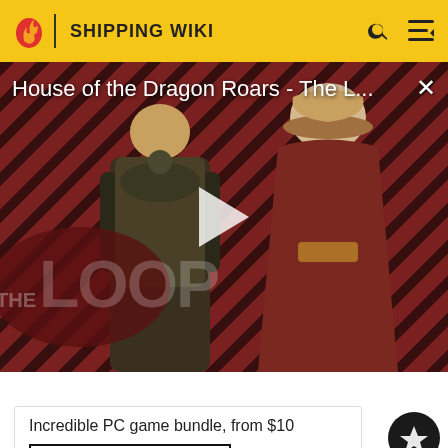SHIPPING WIKI
[Figure (screenshot): Video thumbnail for 'House of the Dragon Roars - The Loop' showing two characters against a red and black diagonal striped background, with a play button overlay and 'THE LOOP' branding in the lower left.]
House of the Dragon Roars - The L...
House of the Dragon Roars - The Loop
Incredible PC game bundle, from $10
BUY FROM FANATICAL